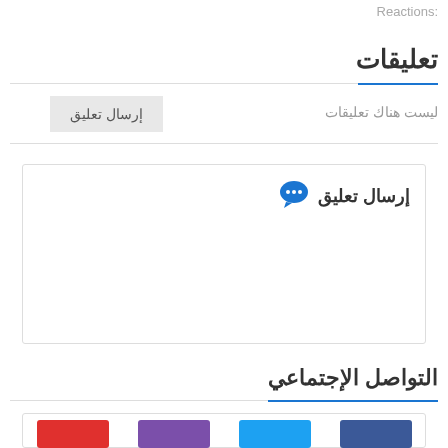Reactions:
تعليقات
ليست هناك تعليقات
إرسال تعليق
إرسال تعليق
التواصل الإجتماعي